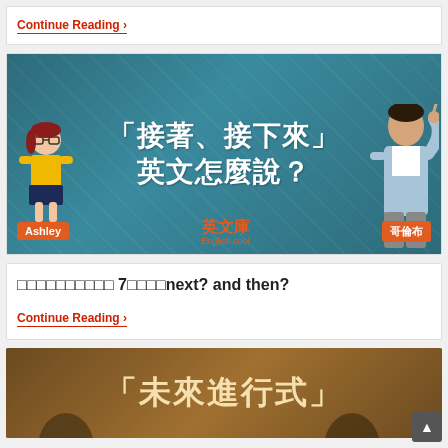Continue Reading ›
[Figure (illustration): Educational banner image with teal/dark background. Large white Chinese text reads 「接著、接下來」英文怎麼說？. Left side has animated female character (Ashley) with glasses and yellow outfit. Right side has real young male (哥倫布). Center shows 英文庫 English.cool logo in orange. Name badges shown for Ashley and 哥倫布.]
□□□□□□□□□□ 7□□□□next? and then?
Continue Reading ›
[Figure (illustration): Bottom partial banner image with brown/golden background showing large Chinese text 「未來進行式」 in cream/beige color. Partially visible at bottom of page.]